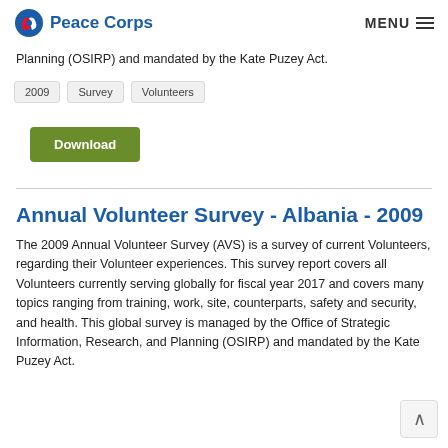Peace Corps  MENU
Planning (OSIRP) and mandated by the Kate Puzey Act.
2009
Survey
Volunteers
Download
Annual Volunteer Survey - Albania - 2009
The 2009 Annual Volunteer Survey (AVS) is a survey of current Volunteers, regarding their Volunteer experiences. This survey report covers all Volunteers currently serving globally for fiscal year 2017 and covers many topics ranging from training, work, site, counterparts, safety and security, and health. This global survey is managed by the Office of Strategic Information, Research, and Planning (OSIRP) and mandated by the Kate Puzey Act.